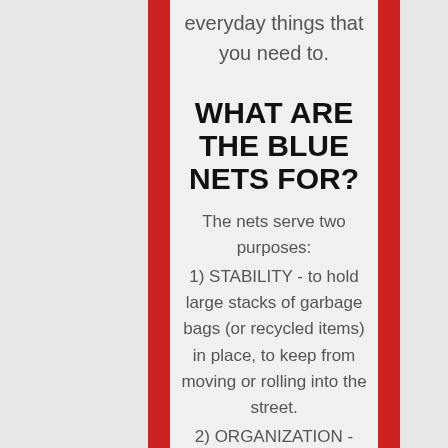everyday things that you need to.
WHAT ARE THE BLUE NETS FOR?
The nets serve two purposes:
1) STABILITY - to hold large stacks of garbage bags (or recycled items) in place, to keep from moving or rolling into the street.
2) ORGANIZATION - The